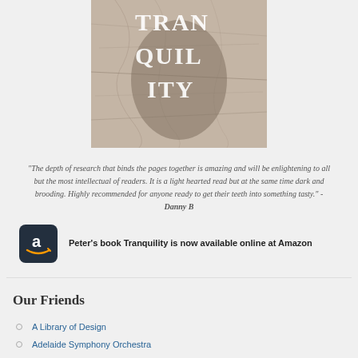[Figure (photo): Book cover of 'Tranquility' showing textured stone/map background with large white serif text spelling TRANQUILITY]
"The depth of research that binds the pages together is amazing and will be enlightening to all but the most intellectual of readers. It is a light hearted read but at the same time dark and brooding. Highly recommended for anyone ready to get their teeth into something tasty." - Danny B
Peter's book Tranquility is now available online at Amazon
Our Friends
A Library of Design
Adelaide Symphony Orchestra